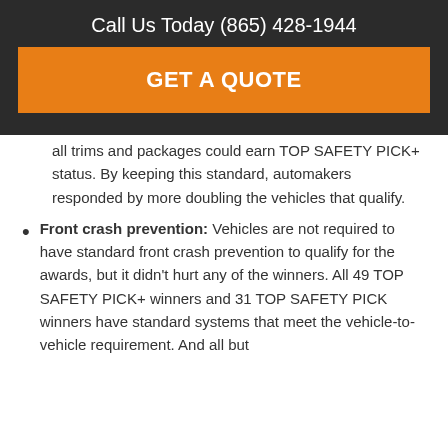Call Us Today (865) 428-1944
GET A QUOTE
all trims and packages could earn TOP SAFETY PICK+ status. By keeping this standard, automakers responded by more doubling the vehicles that qualify.
Front crash prevention: Vehicles are not required to have standard front crash prevention to qualify for the awards, but it didn't hurt any of the winners. All 49 TOP SAFETY PICK+ winners and 31 TOP SAFETY PICK winners have standard systems that meet the vehicle-to-vehicle requirement. And all but